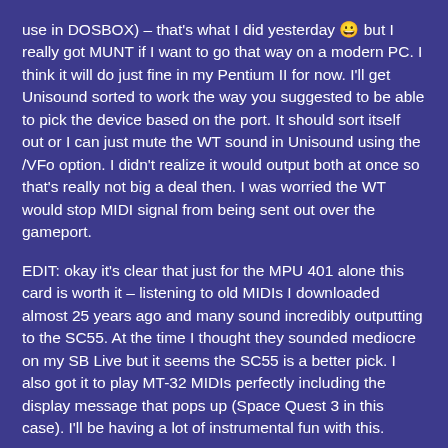use in DOSBOX) – that's what I did yesterday 😀 but I really got MUNT if I want to go that way on a modern PC. I think it will do just fine in my Pentium II for now. I'll get Unisound sorted to work the way you suggested to be able to pick the device based on the port. It should sort itself out or I can just mute the WT sound in Unisound using the /VFo option. I didn't realize it would output both at once so that's really not big a deal then. I was worried the WT would stop MIDI signal from being sent out over the gameport.
EDIT: okay it's clear that just for the MPU 401 alone this card is worth it – listening to old MIDIs I downloaded almost 25 years ago and many sound incredibly outputting to the SC55. At the time I thought they sounded mediocre on my SB Live but it seems the SC55 is a better pick. I also got it to play MT-32 MIDIs perfectly including the display message that pops up (Space Quest 3 in this case). I'll be having a lot of instrumental fun with this.